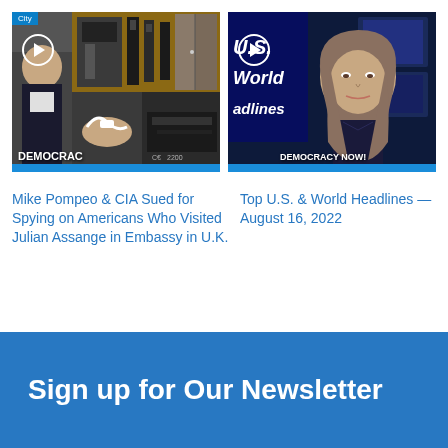[Figure (screenshot): Video thumbnail on left: collage of recording devices and a man in a suit, with play button and 'DEMOCRAC' label at bottom, 'City' label top-left. Blue bar at bottom.]
[Figure (screenshot): Video thumbnail on right: Democracy Now! broadcast with female anchor and U.S./World Headlines on-screen text, play button, 'DEMOCRACY NOW!' chyron at bottom. Blue bar at bottom.]
Mike Pompeo & CIA Sued for Spying on Americans Who Visited Julian Assange in Embassy in U.K.
Top U.S. & World Headlines — August 16, 2022
Sign up for Our Newsletter